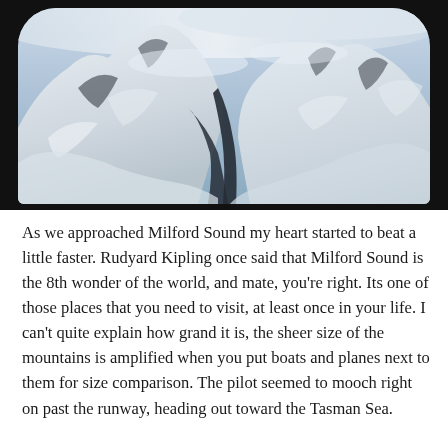[Figure (photo): Aerial photograph of snow-covered mountain peaks at Milford Sound, New Zealand, viewed through a rounded airplane window frame. The image shows dramatic snow-capped mountains with dark rocky ridges and a valley between peaks, taken from a small aircraft.]
As we approached Milford Sound my heart started to beat a little faster. Rudyard Kipling once said that Milford Sound is the 8th wonder of the world, and mate, you're right. Its one of those places that you need to visit, at least once in your life. I can't quite explain how grand it is, the sheer size of the mountains is amplified when you put boats and planes next to them for size comparison. The pilot seemed to mooch right on past the runway, heading out toward the Tasman Sea.